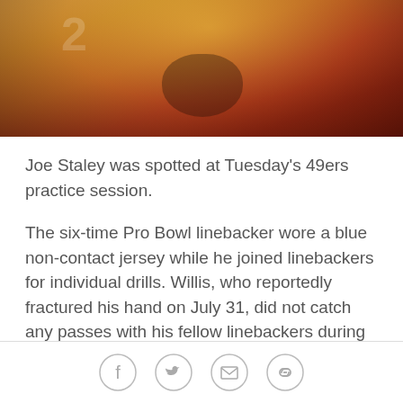[Figure (photo): Close-up photo of a football player in gold/red 49ers uniform, smiling, cropped at top of page]
Joe Staley was spotted at Tuesday's 49ers practice session.
The six-time Pro Bowl linebacker wore a blue non-contact jersey while he joined linebackers for individual drills. Willis, who reportedly fractured his hand on July 31, did not catch any passes with his fellow linebackers during the open portion of practice. His right hand was covered by a protective brace, but he still participated in bag drills.
After individual work, Willis worked with the team's
[Figure (infographic): Social sharing bar with Facebook, Twitter, email, and link icons]